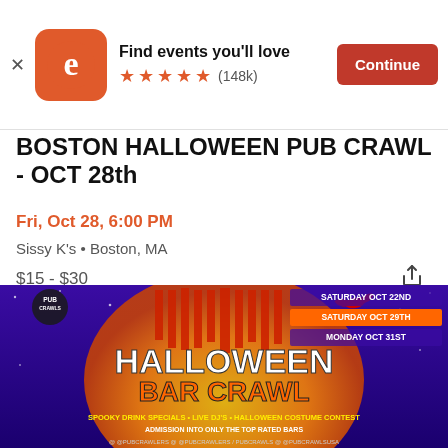[Figure (screenshot): Eventbrite app banner with logo, 'Find events you'll love', 5-star rating (148k), and Continue button]
BOSTON HALLOWEEN PUB CRAWL - OCT 28th
Fri, Oct 28, 6:00 PM
Sissy K's • Boston, MA
$15 - $30
[Figure (illustration): Halloween Bar Crawl promotional flyer with purple/orange background, castle silhouette, bat, 'HALLOWEEN BAR CRAWL' text, dates Saturday Oct 22nd, Saturday Oct 29th, Monday Oct 31st, and text: SPOOKY DRINK SPECIALS • LIVE DJ'S • HALLOWEEN COSTUME CONTEST, ADMISSION INTO ONLY THE TOP RATED BARS, social media handles @PUBCRAWLERS]